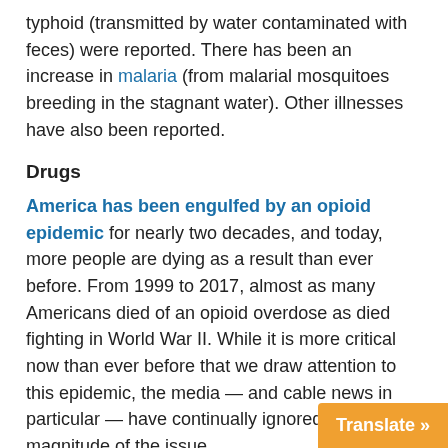typhoid (transmitted by water contaminated with feces) were reported. There has been an increase in malaria (from malarial mosquitoes breeding in the stagnant water). Other illnesses have also been reported.
Drugs
America has been engulfed by an opioid epidemic for nearly two decades, and today, more people are dying as a result than ever before. From 1999 to 2017, almost as many Americans died of an opioid overdose as died fighting in World War II. While it is more critical now than ever before that we draw attention to this epidemic, the media — and cable news in particular — have continually ignored the magnitude of the issue.
Apostasy in the Churches
Raging Pro-Abortion Women “Pastors.” These so-called pastors are in the United Church of Christ, Church, Evangelical Lutheran Church of Am